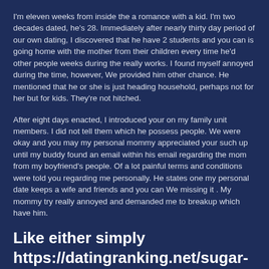I'm eleven weeks from inside the a romance with a kid. I'm two decades dated, he's 28. Immediately after nearly thirty day period of our own dating, I discovered that he have 2 students and you can is going home with the mother from their children every time he'd other people weeks during the really works. I found myself annoyed during the time, however, We provided him other chance. He mentioned that he or she is just heading household, perhaps not for her but for kids. They're not hitched.
After eight days enacted, I introduced your on my family unit members. I did not tell them which he possess people. We were okay and you may my personal mommy appreciated your such up until my buddy found an email within his email regarding the mom from my boyfriend's people. Of a lot painful terms and conditions were told you regarding me personally. He states one my personal date keeps a wife and friends and you can We missing it . My mommy try really annoyed and demanded me to breakup which have him.
Like either simply https://datingranking.net/sugar-